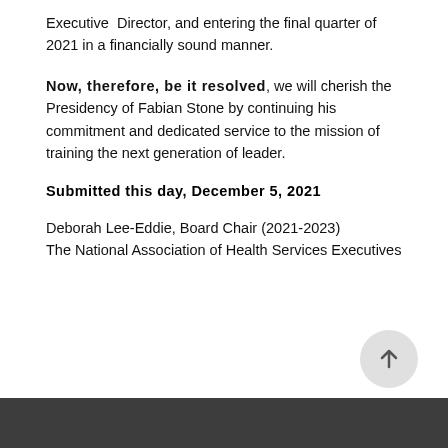Executive Director, and entering the final quarter of 2021 in a financially sound manner.
Now, therefore, be it resolved, we will cherish the Presidency of Fabian Stone by continuing his commitment and dedicated service to the mission of training the next generation of leader.
Submitted this day, December 5, 2021
Deborah Lee-Eddie, Board Chair (2021-2023)
The National Association of Health Services Executives